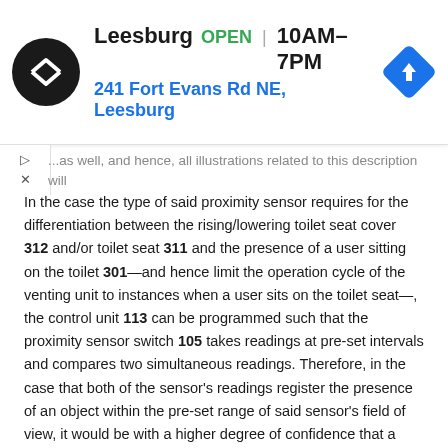[Figure (other): Advertisement banner for Leesburg store showing logo, open status, hours, and address: 241 Fort Evans Rd NE, Leesburg]
...as well, and hence, all illustrations related to this description will correspondingly be mirror images of themselves.
In the case the type of said proximity sensor requires for the differentiation between the rising/lowering toilet seat cover 312 and/or toilet seat 311 and the presence of a user sitting on the toilet 301—and hence limit the operation cycle of the venting unit to instances when a user sits on the toilet seat—, the control unit 113 can be programmed such that the proximity sensor switch 105 takes readings at pre-set intervals and compares two simultaneous readings. Therefore, in the case that both of the sensor's readings register the presence of an object within the pre-set range of said sensor's field of view, it would be with a higher degree of confidence that a user is sitting on the toilet seat, as opposed to a fleeting movement in the sensor's field of view.
Fastening of venting unit's closure can be either easy-access or not. In the case of easy access, the cover can be easily removed by removing screws or releasing latches that are easy to access while the venting unit is attached to toilet. In the case of application in public toilets, removal of